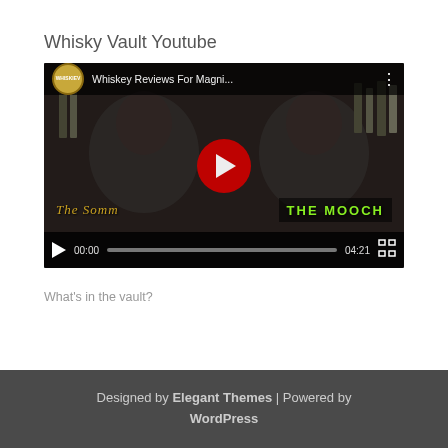Whisky Vault Youtube
[Figure (screenshot): Embedded YouTube video player showing 'Whiskey Reviews For Magni...' with two men visible in a dark background, YouTube play button in center, video controls showing 00:00 / 04:21, text overlays 'The Somm' and 'The Mooch']
What’s in the vault?
Designed by Elegant Themes | Powered by WordPress